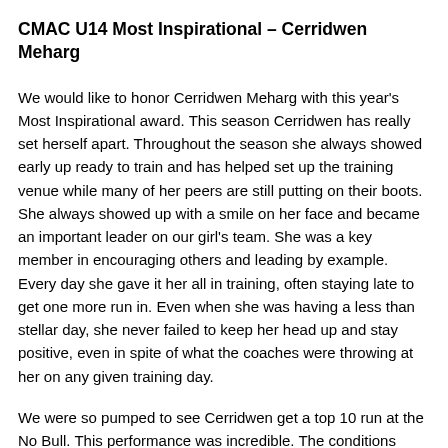CMAC U14 Most Inspirational – Cerridwen Meharg
We would like to honor Cerridwen Meharg with this year's Most Inspirational award. This season Cerridwen has really set herself apart. Throughout the season she always showed early up ready to train and has helped set up the training venue while many of her peers are still putting on their boots. She always showed up with a smile on her face and became an important leader on our girl's team. She was a key member in encouraging others and leading by example. Every day she gave it her all in training, often staying late to get one more run in. Even when she was having a less than stellar day, she never failed to keep her head up and stay positive, even in spite of what the coaches were throwing at her on any given training day.
We were so pumped to see Cerridwen get a top 10 run at the No Bull. This performance was incredible. The conditions were super tough which is where Cerridwen tends to excel. This result shows